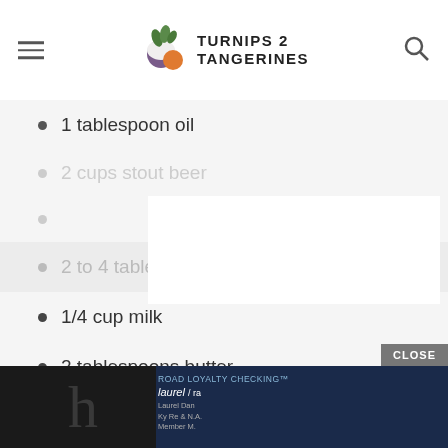Turnips 2 Tangerines
1 tablespoon oil
2 to 4 tablespoons butter
1/4 cup milk
2 tablespoons butter
1 medium onion, thinly sliced
3 tablespoons flour
1 cup stout beer
1 cup beef broth
salt and pepper, to taste